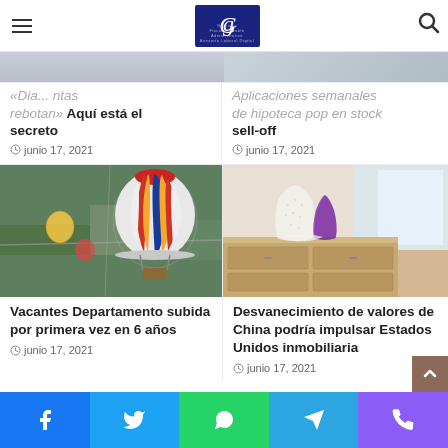GC (logo) — navigation header with hamburger menu and search icon
[Figure (photo): Partial view of article image at top left (cropped, partially hidden by logo)]
[Figure (photo): Partial view of article image at top right (aerial/landscape, cropped)]
«Dia... ntas rebotan» Aquí está el secreto
junio 17, 2021
Aplicaciones semanales de hipoteca pop en stock sell-off
junio 17, 2021
[Figure (photo): Aerial photo of hot air balloons over fields and urban area]
Vacantes Departamento subida por primera vez en 6 años
junio 17, 2021
[Figure (photo): Interior photo with white vase and purple bottle on a wooden dresser near a window]
Desvanecimiento de valores de China podría impulsar Estados Unidos inmobiliaria
junio 17, 2021
Social share buttons: Facebook, Twitter, WhatsApp, Telegram, Phone